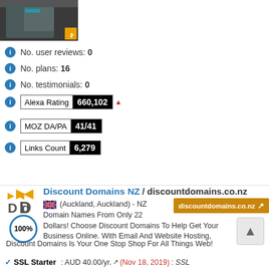[Figure (screenshot): Website screenshot thumbnail with dark background, person image, and orange watermark icon]
No. user reviews: 0
No. plans: 16
No. testimonials: 0
Alexa Rating 660,102 ▲
MOZ DA/PA 41/41
Links Count 6,279
Discount Domains NZ / discountdomains.co.nz
(Auckland, Auckland) - NZ Domain Names From Only 22 Dollars! Choose Discount Domains To Help Get Your Business Online. With Email And Website Hosting, Discount Domains Is Your One Stop Shop For All Things Web!
✓ SSL Starter : AUD 40.00/yr. (Nov 18, 2019) : SSL